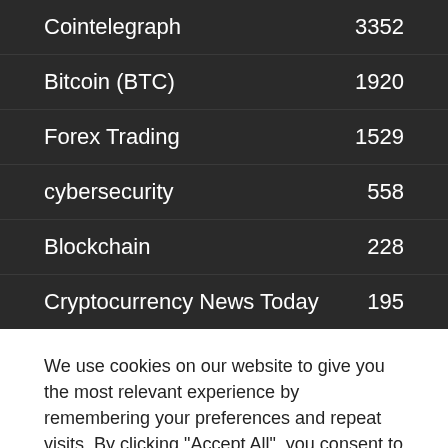|  |  |
| --- | --- |
| Cointelegraph | 3352 |
| Bitcoin (BTC) | 1920 |
| Forex Trading | 1529 |
| cybersecurity | 558 |
| Blockchain | 228 |
| Cryptocurrency News Today | 195 |
We use cookies on our website to give you the most relevant experience by remembering your preferences and repeat visits. By clicking "Accept All", you consent to the use of ALL the cookies. However, you may visit "Cookie Settings" to provide a controlled consent.
Cookie Settings | Accept All